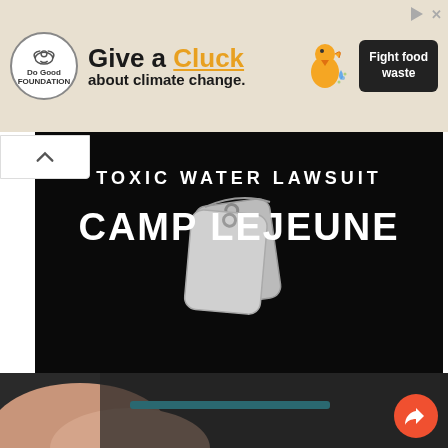[Figure (infographic): Advertisement banner: 'Give a Cluck about climate change. Fight food waste.' with Do Good logo and chicken illustration on beige background]
[Figure (infographic): Camp Lejeune Toxic Water Lawsuit ad with dog tags on black background. Text reads 'TOXIC WATER LAWSUIT CAMP LEJEUNE FREE CASE REVIEW']
Camp Lejeune Water Contamination Claims
Trulaw
[Figure (photo): Close-up photo of a fingernail or skin surface with dark textured background, partially visible at the bottom of the page]